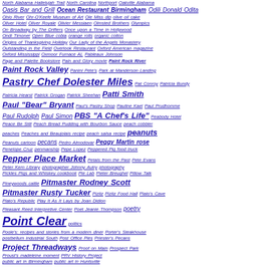North Alabama Hallelujah Trail North Carolina Northport Oakville Alabama Oasis Bar and Grill Ocean Restaurant Birmingham Odili Donald Odita Ohio River Ohr-O'Keefe Museum of Art Ole Miss dip olive oil cake Oliver Hotel Oliver Royale Olivier Messiaen Olmsted Brothers Olympics On Broadway by The Drifters Once upon a Time in Hollywood Ondi Timoner Open Blue cobia orange rolls organic cotton Origins of Thanksgiving Holiday Our Lady of the Angels Monastery Outstanding in the Field Overlook Restaurant Oxford American magazine Oxford Mississippi Oxmoor Furnace AL Pableaux Johnson Page and Palette Bookstore Pain and Glory movie Paint Rock River Paint Rock Valley Panini Pete's Park at Manderson Landing Pastry Chef Dolester Miles Pat Conroy Patricia Bundy Patricia Hearst Patrick Grogan Patrick Sheehan Patti Smith Paul "Bear" Bryant Paul's Pastry Shop Pauline Kael Paul Prudhomme Paul Rudolph Paul Simon PBS "A Chef's Life" Peabody Hotel Peace Be Still Peach Bread Pudding with Bourbon Sauce peach cobbler peaches Peaches and Beaujolais recipe peach salsa recipe peanuts Peanuts cartoon pecans Pedro Almodovar Peggy Martin rose Penelope Cruz penmanship Pepe Lopez Peppered Pig food truck Pepper Place Market Petals from the Past Pete Evans Peter Kern Library photographer Johnny Autry photography Pickles Pigs and Whiskey cookbook Pie Lab Pieter Breughel Pillow Talk Pineywoods cattle Pitmaster Rodney Scott Pitmaster Rusty Tucker Pizitz Pizitz Food Hall Plato's Cave Plato's Republic Play It As It Lays by Joan Didion Pleasant Reed Interpretive Center Poet Jeanie Thompson poetry Point Clear politics Poole's: recipes and stories from a modern diner Porter's Steakhouse postbellum industrial South Post Office Pies Priester's Pecans Project Threadways Proof on Main Prospect Park Proust's madeleine moment PRV History Project public art in Birmingham public art in Huntsville